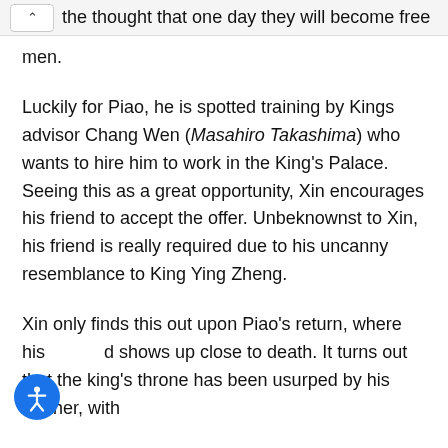the thought that one day they will become free men.
Luckily for Piao, he is spotted training by Kings advisor Chang Wen (Masahiro Takashima) who wants to hire him to work in the King's Palace. Seeing this as a great opportunity, Xin encourages his friend to accept the offer. Unbeknownst to Xin, his friend is really required due to his uncanny resemblance to King Ying Zheng.
Xin only finds this out upon Piao's return, where his friend shows up close to death. It turns out that the king's throne has been usurped by his brother, with